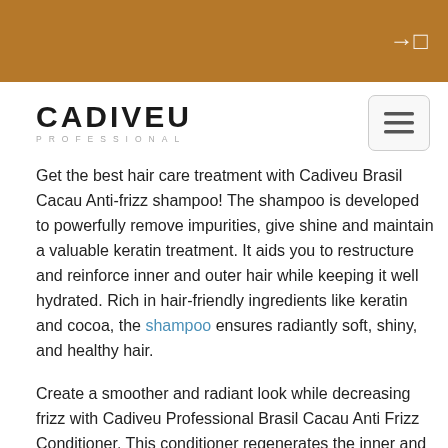Cadiveu Professional - login icon
[Figure (logo): CADIVEU PROFESSIONAL logo with hamburger menu button]
Get the best hair care treatment with Cadiveu Brasil Cacau Anti-frizz shampoo! The shampoo is developed to powerfully remove impurities, give shine and maintain a valuable keratin treatment. It aids you to restructure and reinforce inner and outer hair while keeping it well hydrated. Rich in hair-friendly ingredients like keratin and cocoa, the shampoo ensures radiantly soft, shiny, and healthy hair.
Create a smoother and radiant look while decreasing frizz with Cadiveu Professional Brasil Cacau Anti Frizz Conditioner. This conditioner regenerates the inner and outer hair shafts and promotes a smoother, glossier look. The combination of keratin, cocoa butter, and panthenol guarantees long-term results. This anti-frizz conditioner strengthens the internal structure of the hair, smoothes the cuticle, and prevents it from curling. Brazilian keratin technology protects your hair and